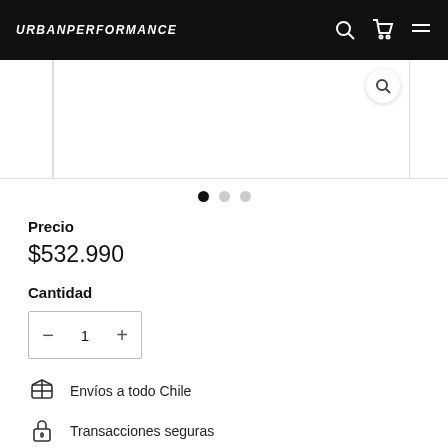URBANPERFORMANCE
[Figure (screenshot): Product image area with zoom button and side thumbnails]
[Figure (other): Image carousel dots indicator: 3 dots, first active]
Precio
$532.990
Cantidad
1
Envíos a todo Chile
Transacciones seguras